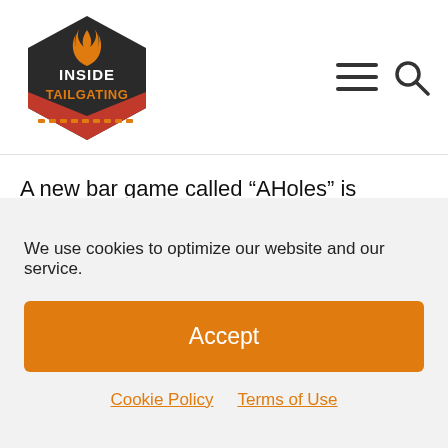[Figure (logo): Inside Tailgating logo — hexagon shield shape with orange/red colors, flame icon, text INSIDE TAILGATING]
A new bar game called “AHoles” is becoming all the rage in the Midwest and we at Inside Tailgating are taking note. When folks from that neck of the woods start talking tailgating, we listen.
This creative new game combines the skills, scoring and setup of darts and cornhole. Players throw four bean bags to three holes in an “A-shaped” target 11
We use cookies to optimize our website and our service.
Accept
Cookie Policy   Terms of Use